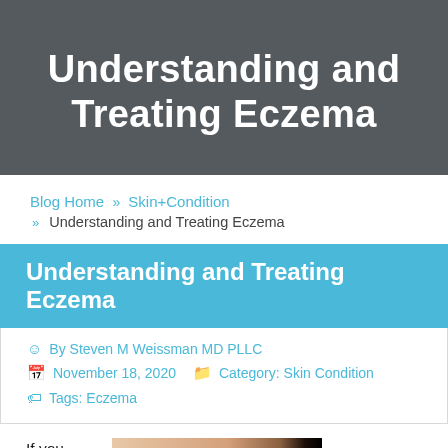Understanding and Treating Eczema
Blog Home » Skin+Condition » Understanding and Treating Eczema
Understanding and Treating Eczema
By Steven M Weissman MD PLLC
November 18, 2020   Category: Skin Condition
Tags: Eczema
If you notice
[Figure (photo): Close-up photo of a hand with skin condition, dark background on right side]